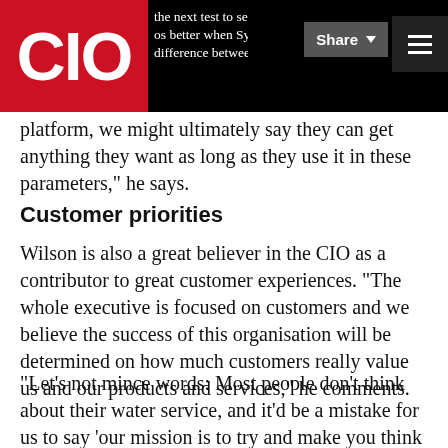CIO | the next test to see if mobility further allows staff performs better when Sydney Water... | Office | Share | Menu
platform, we might ultimately say they can get anything they want as long as they use it in these parameters," he says.
Customer priorities
Wilson is also a great believer in the CIO as a contributor to great customer experiences. “The whole executive is focused on customers and we believe the success of this organisation will be determined on how much customers really value us and our products and services,” he comments.
“Let’s not mince words: Most people don’t think about their water service, and it’d be a mistake for us to say ‘our mission is to try and make you think about it’. What we want to do is be there when they need us, service the request as quickly and effectively as possible, and provide high quality but...